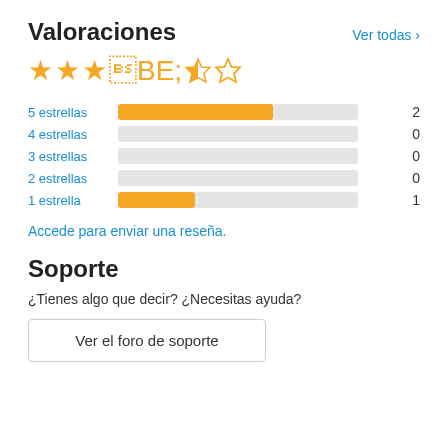Valoraciones
Ver todas >
[Figure (other): Star rating display showing 3.5 out of 5 stars (3 full stars, 1 half star, 1 empty star) in gold/yellow color]
[Figure (bar-chart): Rating distribution]
Accede para enviar una reseña.
Soporte
¿Tienes algo que decir? ¿Necesitas ayuda?
Ver el foro de soporte